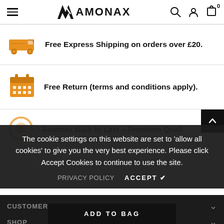AMONAX — navigation header with hamburger menu, logo, search, account, and cart icons
Free Express Shipping on orders over £20.
Free Return (terms and conditions apply).
Amonax Built to Last – Premium Quali…
The cookie settings on this website are set to 'allow all cookies' to give you the very best experience. Please click Accept Cookies to continue to use the site.
CUSTOMER SERVICES
SHOP
PRIVACY POLICY   ACCEPT ✔
ADD TO BAG